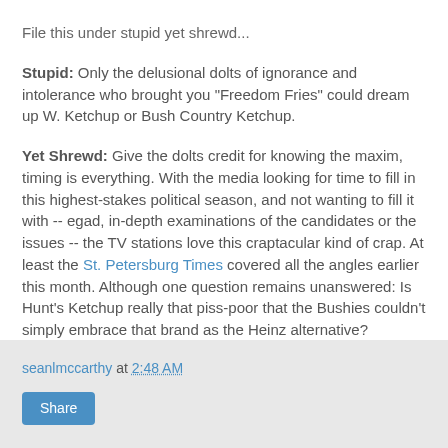File this under stupid yet shrewd...
Stupid: Only the delusional dolts of ignorance and intolerance who brought you "Freedom Fries" could dream up W. Ketchup or Bush Country Ketchup.
Yet Shrewd: Give the dolts credit for knowing the maxim, timing is everything. With the media looking for time to fill in this highest-stakes political season, and not wanting to fill it with -- egad, in-depth examinations of the candidates or the issues -- the TV stations love this craptacular kind of crap. At least the St. Petersburg Times covered all the angles earlier this month. Although one question remains unanswered: Is Hunt's Ketchup really that piss-poor that the Bushies couldn't simply embrace that brand as the Heinz alternative?
seanlmccarthy at 2:48 AM  Share